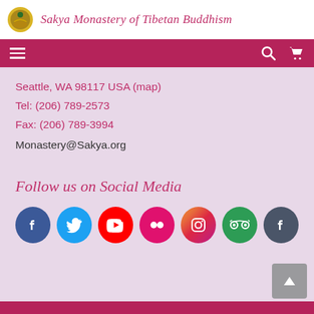Sakya Monastery of Tibetan Buddhism
[Figure (screenshot): Navigation bar with hamburger menu, search icon, and cart icon on crimson background]
Seattle, WA 98117 USA (map)
Tel: (206) 789-2573
Fax: (206) 789-3994
Monastery@Sakya.org
Follow us on Social Media
[Figure (infographic): Row of social media icons: Facebook (dark blue), Twitter (light blue), YouTube (red), Flickr (pink/magenta), Instagram (gradient purple-orange), TripAdvisor (green), Facebook (dark slate)]